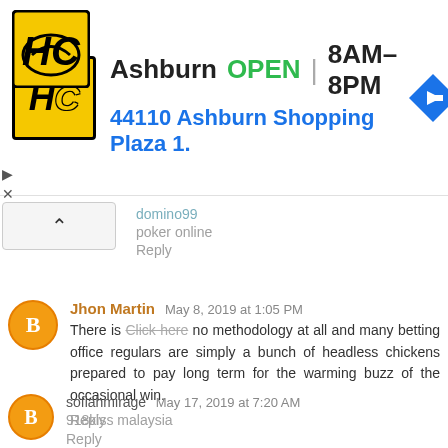[Figure (screenshot): Ad banner for a hardware/home store in Ashburn. Yellow square logo with 'HC', text showing OPEN 8AM-8PM, address 44110 Ashburn Shopping Plaza 1., blue navigation arrow icon.]
domino99
poker online
Reply
Jhon Martin  May 8, 2019 at 1:05 PM
There is Click here no methodology at all and many betting office regulars are simply a bunch of headless chickens prepared to pay long term for the warming buzz of the occasional win.
Reply
sofiahmirage  May 17, 2019 at 7:20 AM
918kiss malaysia
Reply